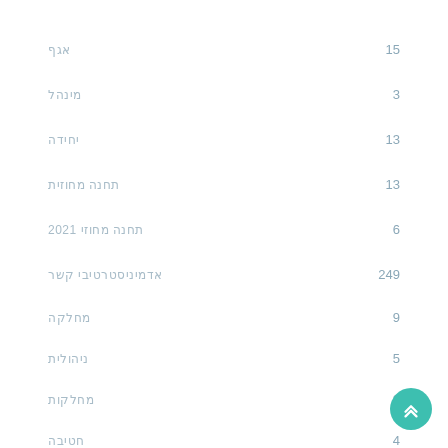אגף 15
מינהל 3
יחידה 13
תחנה מחוזית 13
תחנה מחוזי 2021 6
אדמיניסטרטיבי קשר 249
מחלקה 9
ניהולית 5
מחלקות 8
חטיבה 4